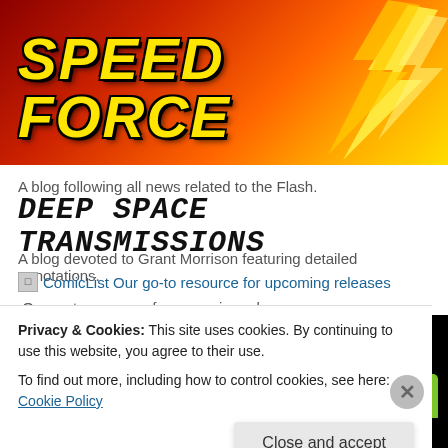[Figure (illustration): Speed Force blog banner with red-orange-yellow gradient background, lightning bolt graphic on right side, and 'SPEED FORCE' text in yellow italic bold font with black outline]
A blog following all news related to the Flash.
dEEP SPACE TRANSMISSIONS
A blog devoted to Grant Morrison featuring detailed annotations.
ComicList Our go-to resource for upcoming releases Our go-to resource for upcoming releases
[Figure (screenshot): Bottom section showing a dark black background with green tab-shaped navigation elements at bottom]
Privacy & Cookies: This site uses cookies. By continuing to use this website, you agree to their use.
To find out more, including how to control cookies, see here: Cookie Policy